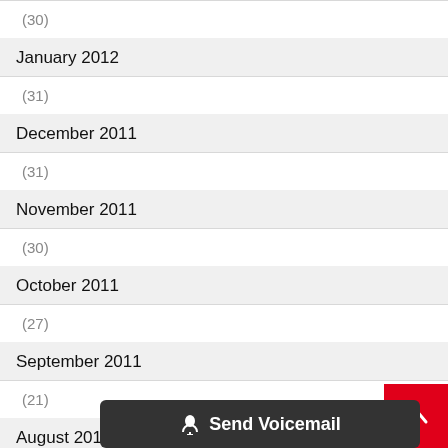(30)
January 2012
(31)
December 2011
(31)
November 2011
(30)
October 2011
(27)
September 2011
(21)
August 2011